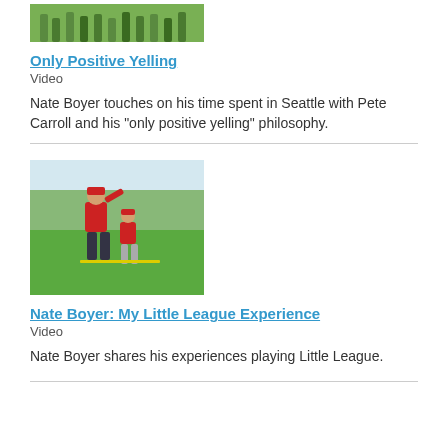[Figure (photo): Partial view of children on a sports field, showing legs and feet]
Only Positive Yelling
Video
Nate Boyer touches on his time spent in Seattle with Pete Carroll and his "only positive yelling" philosophy.
[Figure (photo): Coach and young baseball player in red uniforms on a green field]
Nate Boyer: My Little League Experience
Video
Nate Boyer shares his experiences playing Little League.